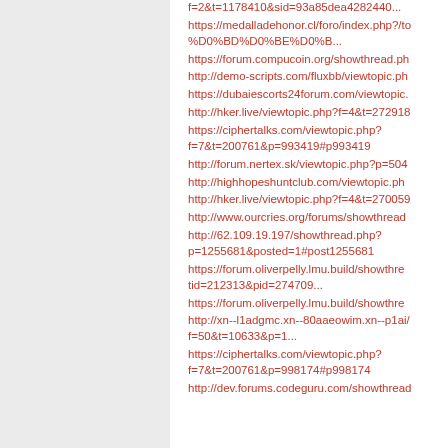f=2&t=1178410&sid=93a85dea4282440...
https://medalladehonor.cl/foro/index.php?/to %D0%BD%D0%BE%D0%B...
https://forum.compucoin.org/showthread.ph
http://demo-scripts.com/fluxbb/viewtopic.ph
https://dubaiescorts24forum.com/viewtopic.
http://hker.live/viewtopic.php?f=4&t=272918
https://ciphertalks.com/viewtopic.php?f=7&t=200761&p=993419#p993419
http://forum.nertex.sk/viewtopic.php?p=504
http://highhopeshuntclub.com/viewtopic.ph
http://hker.live/viewtopic.php?f=4&t=270059
http://www.ourcries.org/forums/showthread
http://62.109.19.197/showthread.php?p=1255681&posted=1#post1255681
https://forum.oliverpelly.lmu.build/showthre tid=212313&pid=274709...
https://forum.oliverpelly.lmu.build/showthre
http://xn--l1adgmc.xn--80aaeowim.xn--p1ai/ f=50&t=10633&p=1...
https://ciphertalks.com/viewtopic.php?f=7&t=200761&p=998174#p998174
http://dev.forums.codeguru.com/showthread